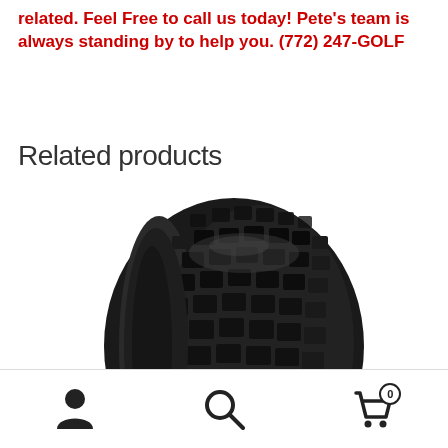related. Feel Free to call us today! Pete's team is always standing by to help you. (772) 247-GOLF
Related products
[Figure (photo): A knobby ATV/golf cart tire with square tread pattern, shown in black, photographed against a white background.]
Navigation footer with user icon, search icon, and cart icon with badge showing 0